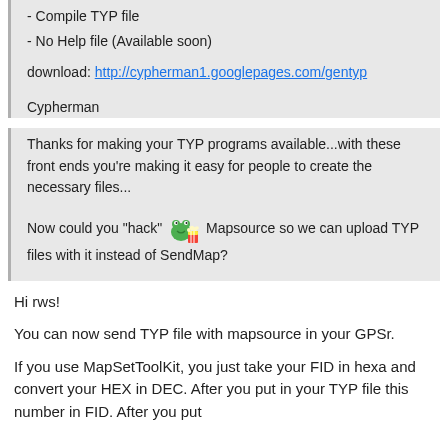- Compile TYP file
- No Help file (Available soon)
download: http://cypherman1.googlepages.com/gentyp
Cypherman
Thanks for making your TYP programs available...with these front ends you're making it easy for people to create the necessary files...
Now could you 'hack' [emoji] Mapsource so we can upload TYP files with it instead of SendMap?
Hi rws!
You can now send TYP file with mapsource in your GPSr.
If you use MapSetToolKit, you just take your FID in hexa and convert your HEX in DEC. After you put in your TYP file this number in FID. After you put